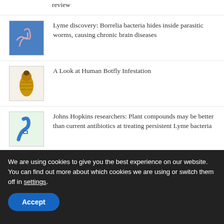review
[Figure (illustration): Microscope image of Borrelia bacteria/worms on blue background]
Lyme discovery: Borrelia bacteria hides inside parasitic worms, causing chronic brain diseases
[Figure (photo): Yellow-brown botfly larva on plain background]
A Look at Human Botfly Infestation
[Figure (illustration): Curved blue worm-like shape on light green background]
Johns Hopkins researchers: Plant compounds may be better than current antibiotics at treating persistent Lyme bacteria
[Figure (photo): Close-up photo of a tick on white background]
Lyme disease and other tickborne diseases in the US
We are using cookies to give you the best experience on our website. You can find out more about which cookies we are using or switch them off in settings.
Accept